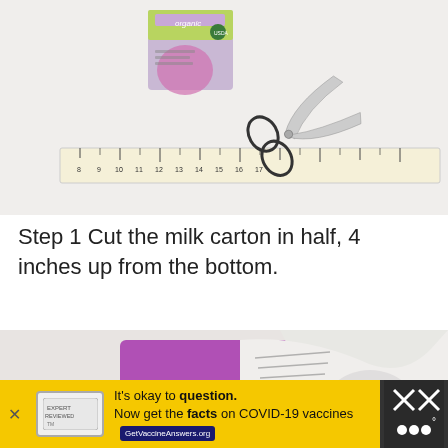[Figure (photo): Two open organic milk cartons on a white surface next to a ruler and a pair of scissors]
Step 1 Cut the milk carton in half, 4 inches up from the bottom.
[Figure (photo): Close-up of a purple organic milk carton being cut, showing the top flap opened]
[Figure (other): Advertisement bar: It's okay to question. Now get the facts on COVID-19 vaccines. GetVaccineAnswers.org]